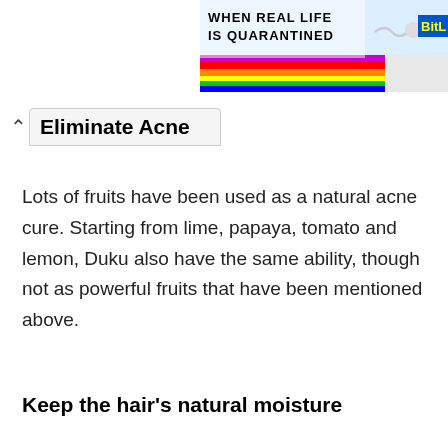[Figure (illustration): Colorful banner advertisement showing rainbow stripes and text 'WHEN REAL LIFE IS QUARANTINED' with 'BitL' logo in yellow on blue background, with a sperm-like mascot icon]
Eliminate Acne
Lots of fruits have been used as a natural acne cure. Starting from lime, papaya, tomato and lemon, Duku also have the same ability, though not as powerful fruits that have been mentioned above.
Keep the hair's natural moisture